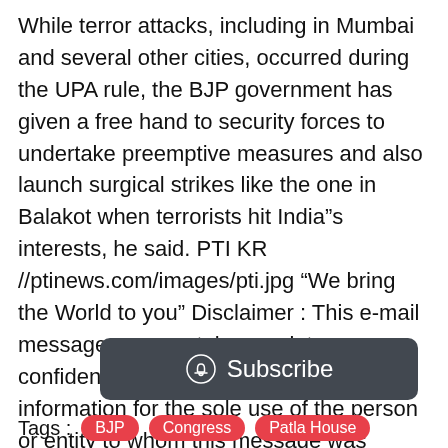While terror attacks, including in Mumbai and several other cities, occurred during the UPA rule, the BJP government has given a free hand to security forces to undertake preemptive measures and also launch surgical strikes like the one in Balakot when terrorists hit India"s interests, he said. PTI KR //ptinews.com/images/pti.jpg “We bring the World to you” Disclaimer : This e-mail message may contain proprietary, confidential or legally privileged information for the sole use of the person or entity to whom this message was originally addressed. Please delete this e-mail, if it is not meant for you
[Figure (other): Subscribe button with bell icon on dark grey rounded rectangle background]
Tags : BJP Congress Patla House